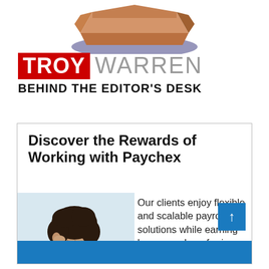[Figure (illustration): Illustration of a cardboard box or open book with dark blue/purple shadow beneath it, partially cropped at top of page]
TROY WARREN BEHIND THE EDITOR'S DESK
[Figure (infographic): Advertisement box for Paychex with headline 'Discover the Rewards of Working with Paychex', photo of a woman with curly hair looking down at a device, text 'Our clients enjoy flexible and scalable payroll/HR solutions while earning benefits by referring others.', a blue scroll-up button, and a blue bottom bar]